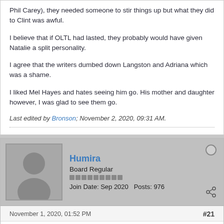Phil Carey), they needed someone to stir things up but what they did to Clint was awful.
I believe that if OLTL had lasted, they probably would have given Natalie a split personality.
I agree that the writers dumbed down Langston and Adriana which was a shame.
I liked Mel Hayes and hates seeing him go. His mother and daughter however, I was glad to see them go.
Last edited by Bronson; November 2, 2020, 09:31 AM.
Humira
Board Regular
Join Date: Sep 2020   Posts: 976
November 1, 2020, 01:52 PM
#21
Addie recovered from her mental illness was a delight. I loved that story and all the interactions PPW had during those few scenes. I know a lot of my old soap friends absolutely hated this development. I loved it. The scene with her daughter Blair with sister Dorian and the rest